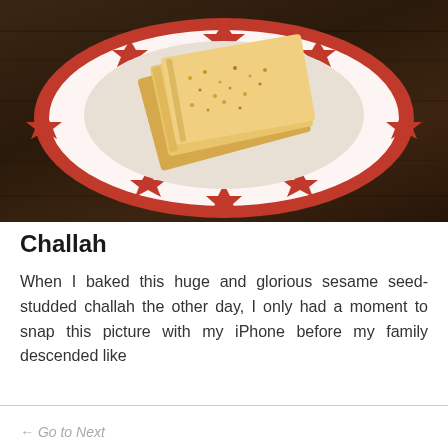[Figure (photo): Slices of sesame seed-studded challah bread on a decorative red and white plate with star pattern, placed on a dark wooden surface]
Challah
When I baked this huge and glorious sesame seed-studded challah the other day, I only had a moment to snap this picture with my iPhone before my family descended like